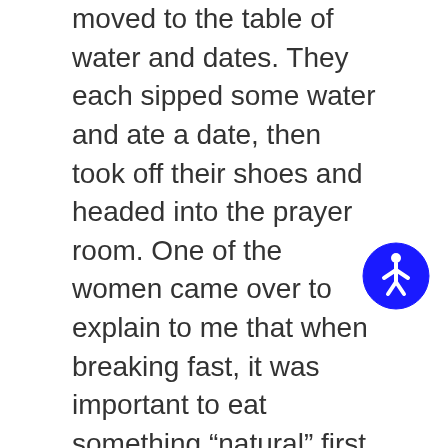moved to the table of water and dates. They each sipped some water and ate a date, then took off their shoes and headed into the prayer room. One of the women came over to explain to me that when breaking fast, it was important to eat something “natural” first. The women entered the communal prayer space through a different door and we lined up along the white line in the back of the room. The men lined up in the front. The women coached me to stand close together, with our arms nearly touching. I simply followed along, as the prayer was in Arabic, so I was simply mimicking what I observed around me. There was some standing, some kneeling, some bowing, some hand gestures, some repeating of phrases. Yup, it reminded me of a bit of church but without the pew….and a bit of the synagogue, as I didn’t understand the language there either! But I knew that there was something being said that was
[Figure (other): Blue circular accessibility icon (wheelchair user symbol) in the bottom-right area of the text block]